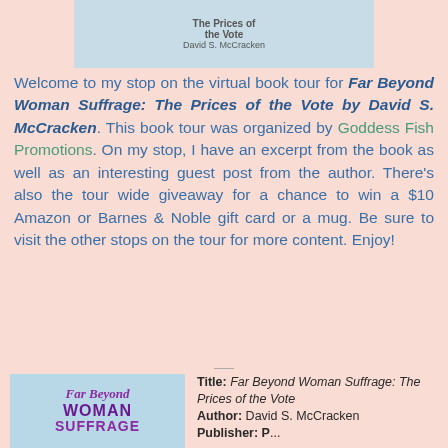[Figure (illustration): Book cover thumbnail showing 'The Prices of the Vote' by David S. McCracken on a light blue background]
Welcome to my stop on the virtual book tour for Far Beyond Woman Suffrage: The Prices of the Vote by David S. McCracken. This book tour was organized by Goddess Fish Promotions. On my stop, I have an excerpt from the book as well as an interesting guest post from the author. There's also the tour wide giveaway for a chance to win a $10 Amazon or Barnes & Noble gift card or a mug. Be sure to visit the other stops on the tour for more content. Enjoy!
[Figure (illustration): Book cover for Far Beyond Woman Suffrage featuring purple/magenta script and bold lettering on light blue background]
Title: Far Beyond Woman Suffrage: The Prices of the Vote
Author: David S. McCracken
Publisher: P...